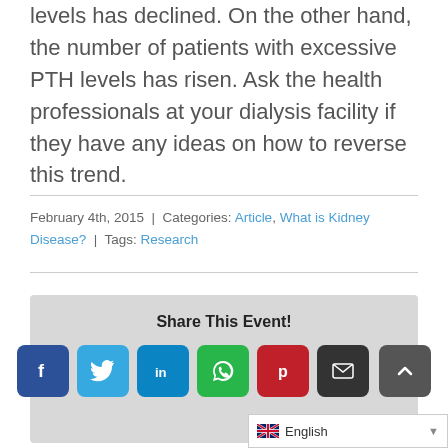levels has declined. On the other hand, the number of patients with excessive PTH levels has risen. Ask the health professionals at your dialysis facility if they have any ideas on how to reverse this trend.
February 4th, 2015 | Categories: Article, What is Kidney Disease? | Tags: Research
[Figure (infographic): Share This Event! panel with social media icons: Facebook, Twitter, LinkedIn, WhatsApp, Pinterest, Email, and a scroll-to-top button. Below is a language selector showing English with a dropdown arrow.]